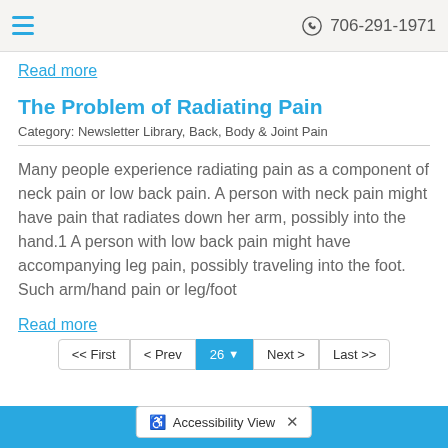706-291-1971
Read more
The Problem of Radiating Pain
Category: Newsletter Library, Back, Body & Joint Pain
Many people experience radiating pain as a component of neck pain or low back pain. A person with neck pain might have pain that radiates down her arm, possibly into the hand.1 A person with low back pain might have accompanying leg pain, possibly traveling into the foot. Such arm/hand pain or leg/foot
Read more